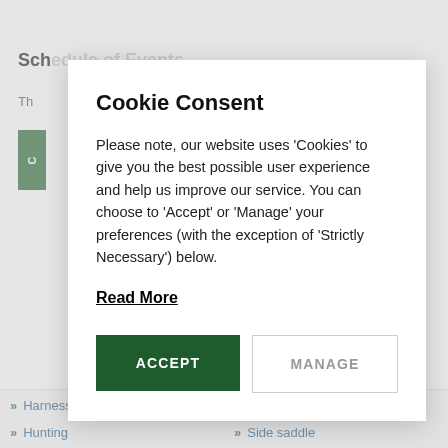Schedule of Events
Th…
[Figure (screenshot): Cookie consent modal dialog overlay on a website page. The modal contains a title 'Cookie Consent', body text about cookies, a 'Read More' link, and two buttons: 'ACCEPT' (dark green) and 'MANAGE' (outlined).]
Cookie Consent
Please note, our website uses 'Cookies' to give you the best possible user experience and help us improve our service. You can choose to 'Accept' or 'Manage' your preferences (with the exception of 'Strictly Necessary') below.
Read More
» Harness racing
» Showjumping
» Hunting
» Side saddle